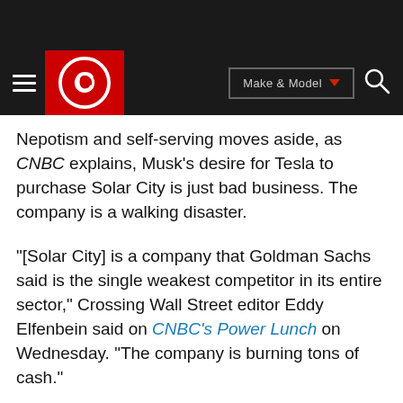[Figure (logo): Carbuzz website header with hamburger menu, red logo with circular C icon, Make & Model dropdown button, and search icon on dark background]
Nepotism and self-serving moves aside, as CNBC explains, Musk's desire for Tesla to purchase Solar City is just bad business. The company is a walking disaster.
"[Solar City] is a company that Goldman Sachs said is the single weakest competitor in its entire sector," Crossing Wall Street editor Eddy Elfenbein said on CNBC's Power Lunch on Wednesday. "The company is burning tons of cash."
Another expert, tech analyst Craig Johnson, echoed Elfenbein's analysis, telling Power Lunch "the risk-reward on the charts clearly are not favorable, and that's in sync with what you've been hearing about on the fundamental